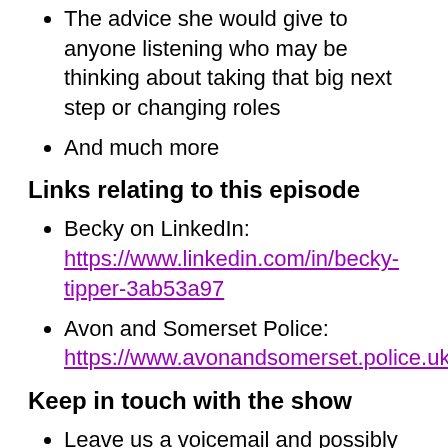The advice she would give to anyone listening who may be thinking about taking that big next step or changing roles
And much more
Links relating to this episode
Becky on LinkedIn: https://www.linkedin.com/in/becky-tipper-3ab53a97
Avon and Somerset Police: https://www.avonandsomerset.police.uk
Keep in touch with the show
Leave us a voicemail and possibly get featured on the show